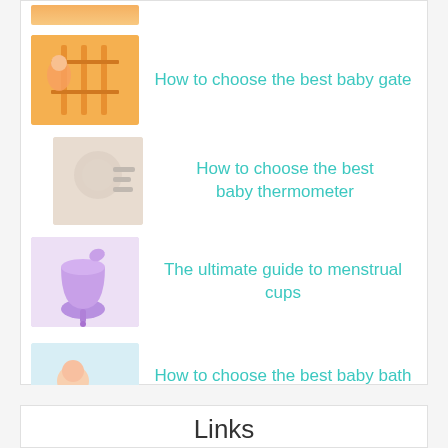How to choose the best baby gate
How to choose the best baby thermometer
The ultimate guide to menstrual cups
How to choose the best baby bath tub
Links